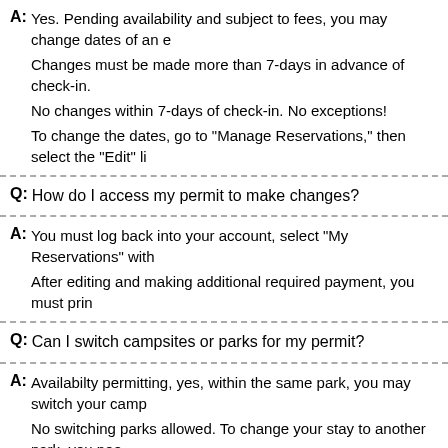A: Yes. Pending availability and subject to fees, you may change dates of an existing reservation. Changes must be made more than 7-days in advance of check-in. No changes within 7-days of check-in. No exceptions! To change the dates, go to "Manage Reservations," then select the "Edit" li...
Q: How do I access my permit to make changes?
A: You must log back into your account, select "My Reservations" with... After editing and making additional required payment, you must pri...
Q: Can I switch campsites or parks for my permit?
A: Availabilty permitting, yes, within the same park, you may switch your camp... No switching parks allowed. To change your stay to another park, you nee... and purchase a new permit for your desired site.
Q: What is the maximum number of nights I can camp?
A: For each calendar year from June-August, a person may camp at e... Isaac Hale Beach Park, then 3 nights in July, I won't be able to ca...